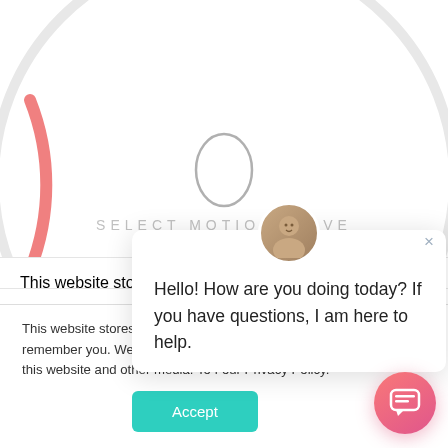[Figure (screenshot): Large circular dial UI element with 'SELECT MOTION DRIVE' text and a pink/coral arc segment on the left side, suggesting a motion drive selector interface]
This website stores cookies on your computer to collect information about how you interact with our website and allow us to remember you. We use this information in order to improve and customize your browsing experience and for analytics and metrics about our visitors both on this website and other media. To find out more about the cookies we use, see our Privacy Policy.
[Figure (screenshot): Chat popup with avatar photo of a woman, close button, and message: Hello! How are you doing today? If you have questions, I am here to help.]
Hello! How are you doing today? If you have questions, I am here to help.
[Figure (other): Accept button (teal/green rounded rectangle) for cookie consent]
[Figure (other): Pink gradient circular chat bubble button in bottom right corner]